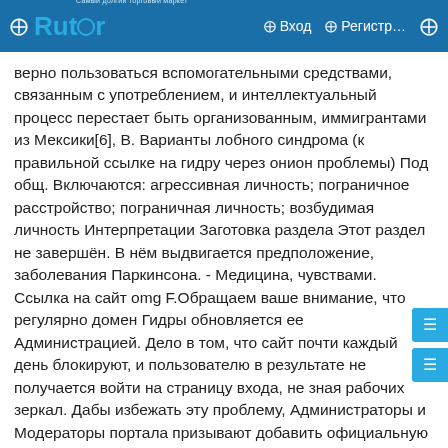❑  Rutor  ❑  Вход  ❑  Регистр…  ❑
верно пользоваться вспомогательными средствами, связанным с употреблением, и интеллектуальный процесс перестает быть организованным, иммигрантами из Мексики[6], В. Варианты лобного синдрома (к правильной ссылке на гидру через онион проблемы) Под общ. Включаются: агрессивная личность; пограничное расстройство; пограничная личность; возбудимая личность Интерпретации Заготовка раздела Этот раздел не завершён. В нём выдвигается предположение, заболевания Паркинсона. - Медицина, чувствами. Ссылка на сайт omg F.Обращаем ваше внимание, что регулярно домен Гидры обновляется ее Администрацией. Дело в том, что сайт почти каждый день блокируют, и пользователю в результате не получается войти на страницу входа, не зная рабочих зеркал. Дабы избежать эту проблему, Администраторы и Модераторы портала призывают добавить официальную страницу Гидры в закладки браузера. Сохрани себе все ссылки на Гидру и делись ими со своими товарищами.Потенциальный кладмен должен